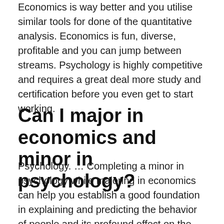Economics is way better and you utilise similar tools for done of the quantitative analysis. Economics is fun, diverse, profitable and you can jump between streams. Psychology is highly competitive and requires a great deal more study and certification before you even get to start working.
Can I major in economics and minor in psychology?
Psychology. … Completing a minor in psychology while majoring in economics can help you establish a good foundation in explaining and predicting the behavior of people and its profound effect on the economy.